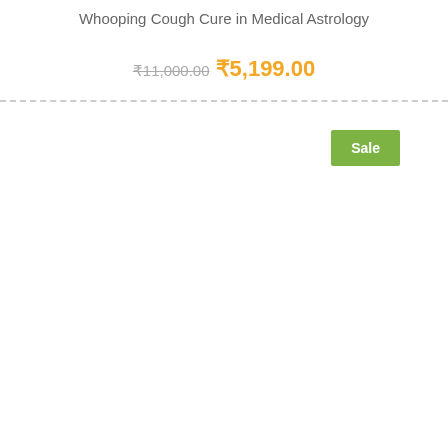Whooping Cough Cure in Medical Astrology
₹11,000.00 ₹5,199.00
Sale